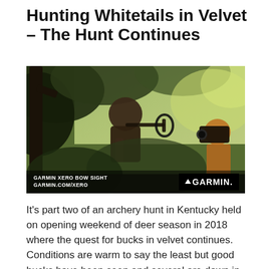Hunting Whitetails in Velvet – The Hunt Continues
[Figure (photo): Outdoor hunting scene showing a hunter in camouflage gear drawing a compound bow while perched in a tree stand, with a cameraman on the right recording the action. Dense green foliage and trees in the background. A Garmin Xero Bow Sight overlay is visible at the bottom with text 'GARMIN XERO BOW SIGHT' and 'GARMIN.COM/XERO' alongside the Garmin logo.]
It's part two of an archery hunt in Kentucky held on opening weekend of deer season in 2018 where the quest for bucks in velvet continues. Conditions are warm to say the least but good bucks have been seen and several are down in the main camp already. Will Steve